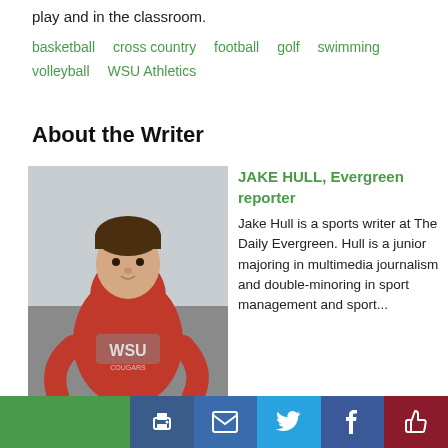play and in the classroom.
basketball   cross country   football   golf   swimming   volleyball   WSU Athletics
About the Writer
[Figure (photo): Photo of Jake Hull, a young man wearing a red WSU Cougars hoodie, standing outdoors.]
JAKE HULL, Evergreen reporter
Jake Hull is a sports writer at The Daily Evergreen. Hull is a junior majoring in multimedia journalism and double-minoring in sport management and sport...